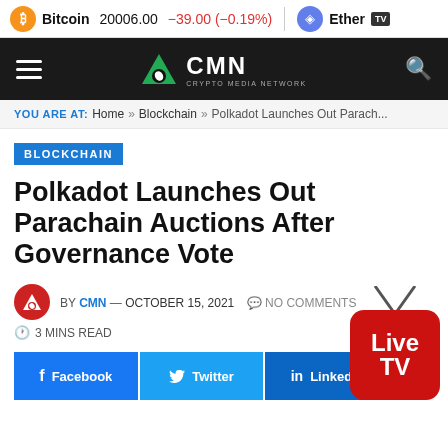Bitcoin 20006.00 -39.00 (-0.19%) Ether...
[Figure (screenshot): CMN Crypto Media Network navigation bar with hamburger menu and search icon]
YOU ARE AT: Home » Blockchain » Polkadot Launches Out Parach...
BLOCKCHAIN
Polkadot Launches Out Parachain Auctions After Governance Vote
BY CMN — OCTOBER 15, 2021   NO COMMENTS   3 MINS READ
Facebook  Twitter  LinkedIn